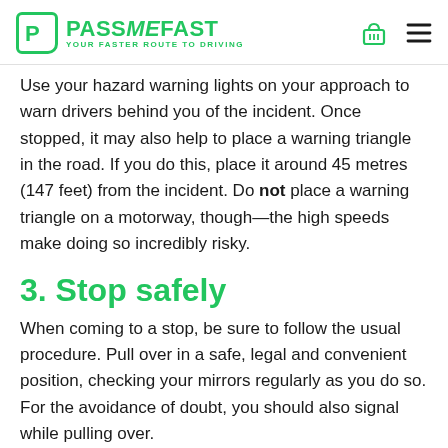PASS ME FAST — YOUR FASTER ROUTE TO DRIVING
Use your hazard warning lights on your approach to warn drivers behind you of the incident. Once stopped, it may also help to place a warning triangle in the road. If you do this, place it around 45 metres (147 feet) from the incident. Do not place a warning triangle on a motorway, though—the high speeds make doing so incredibly risky.
3. Stop safely
When coming to a stop, be sure to follow the usual procedure. Pull over in a safe, legal and convenient position, checking your mirrors regularly as you do so. For the avoidance of doubt, you should also signal while pulling over.